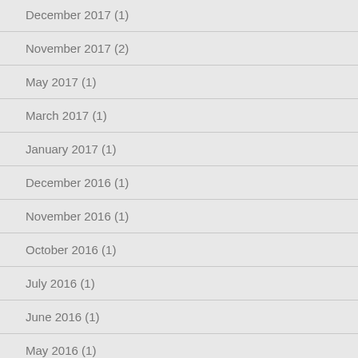December 2017 (1)
November 2017 (2)
May 2017 (1)
March 2017 (1)
January 2017 (1)
December 2016 (1)
November 2016 (1)
October 2016 (1)
July 2016 (1)
June 2016 (1)
May 2016 (1)